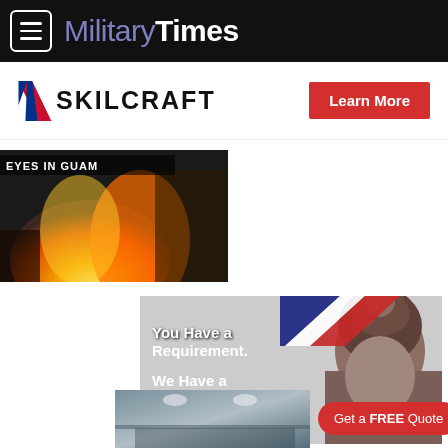MilitaryTimes
[Figure (logo): SKILCRAFT logo with diagonal red/blue stripe and Learn More button]
[Figure (photo): Fire/explosion image thumbnail with text overlay EYES IN GUAM]
[Figure (photo): SKILCRAFT advertisement: You Have a Requirement. We Have a Solution. with woman photo]
[Figure (photo): Kitchen interior thumbnail at bottom with Get a FREE Quote button]